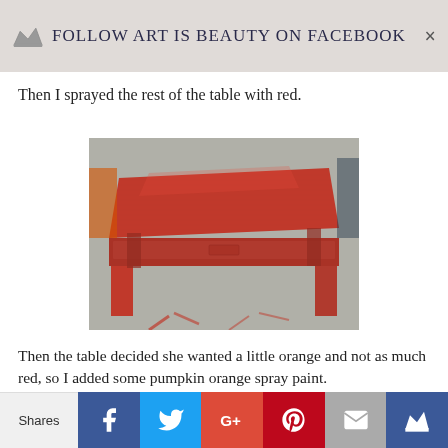Follow ART IS BEAUTY on FACEBOOK
Then I sprayed the rest of the table with red.
[Figure (photo): A wooden table painted red, sitting on a concrete floor with red paint drips/splatters visible on the ground beneath it.]
Then the table decided she wanted a little orange and not as much red, so I added some pumpkin orange spray paint.
Shares | Facebook | Twitter | Google+ | Pinterest | Email | Crown